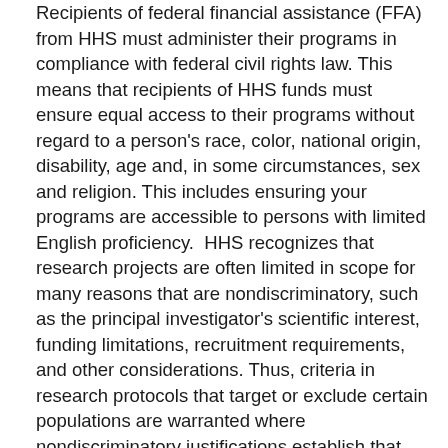Recipients of federal financial assistance (FFA) from HHS must administer their programs in compliance with federal civil rights law. This means that recipients of HHS funds must ensure equal access to their programs without regard to a person's race, color, national origin, disability, age and, in some circumstances, sex and religion. This includes ensuring your programs are accessible to persons with limited English proficiency.  HHS recognizes that research projects are often limited in scope for many reasons that are nondiscriminatory, such as the principal investigator's scientific interest, funding limitations, recruitment requirements, and other considerations. Thus, criteria in research protocols that target or exclude certain populations are warranted where nondiscriminatory justifications establish that such criteria are appropriate with respect to the health or safety of the subjects, the scientific study design, or the purpose of the research.